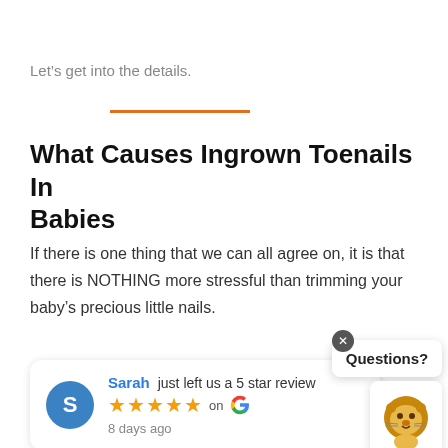Let's get into the details.
What Causes Ingrown Toenails In Babies
If there is one thing that we can all agree on, it is that there is NOTHING more stressful than trimming your baby's precious little nails.
[Figure (other): Google review card: Sarah just left a 5 star review on Google, 8 days ago]
[Figure (other): Chat widget with close button (x), 'Questions?' bubble, and lion mascot icon]